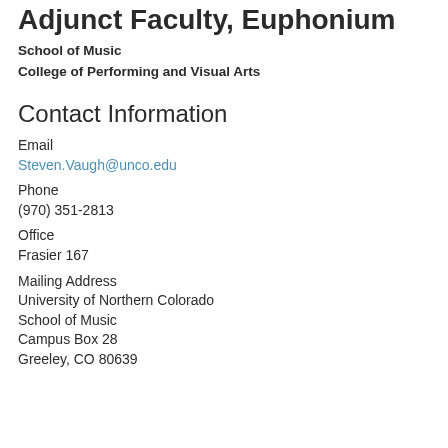Adjunct Faculty, Euphonium
School of Music
College of Performing and Visual Arts
Contact Information
Email
Steven.Vaugh@unco.edu
Phone
(970) 351-2813
Office
Frasier 167
Mailing Address
University of Northern Colorado
School of Music
Campus Box 28
Greeley, CO 80639